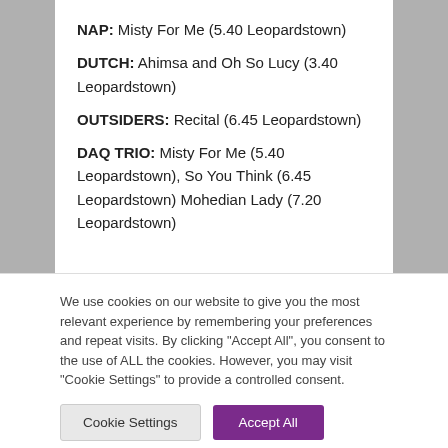NAP: Misty For Me (5.40 Leopardstown)
DUTCH: Ahimsa and Oh So Lucy (3.40 Leopardstown)
OUTSIDERS: Recital (6.45 Leopardstown)
DAQ TRIO: Misty For Me (5.40 Leopardstown), So You Think (6.45 Leopardstown) Mohedian Lady (7.20 Leopardstown)
We use cookies on our website to give you the most relevant experience by remembering your preferences and repeat visits. By clicking "Accept All", you consent to the use of ALL the cookies. However, you may visit "Cookie Settings" to provide a controlled consent.